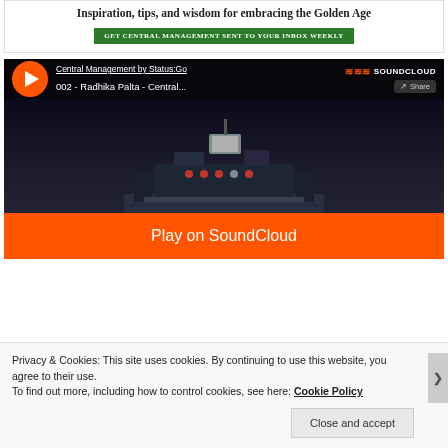Inspiration, tips, and wisdom for embracing the Golden Age
GET CENTRAL MANAGEMENT SENT TO YOUR INBOX WEEKLY
[Figure (screenshot): SoundCloud embedded player showing 'Central Management by Status:Go' with track '002 - Radhika Palta - Central...' and a 'Play on SoundCloud' orange button over a dark background with robot/equipment imagery]
Privacy & Cookies: This site uses cookies. By continuing to use this website, you agree to their use.
To find out more, including how to control cookies, see here: Cookie Policy
Close and accept